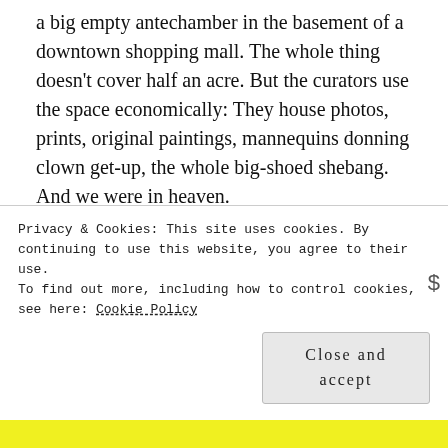a big empty antechamber in the basement of a downtown shopping mall. The whole thing doesn't cover half an acre. But the curators use the space economically: They house photos, prints, original paintings, mannequins donning clown get-up, the whole big-shoed shebang. And we were in heaven.
Our tour guide was informative. A tall woman with a thick Midwestern accent, she talked about the three types of clowns in mild detail. The white-faced clown represents the circus and plays with the kids. The plain-faced clown is all slapstick; white face
Privacy & Cookies: This site uses cookies. By continuing to use this website, you agree to their use.
To find out more, including how to control cookies, see here: Cookie Policy